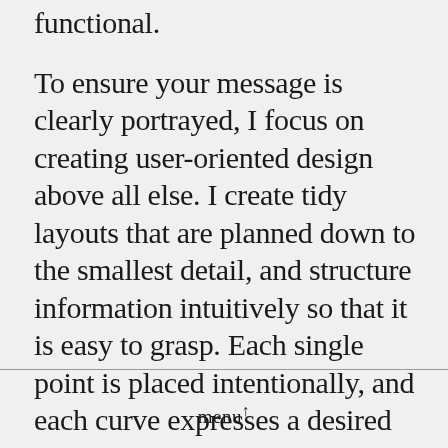impressive, but also intuitive and functional.
To ensure your message is clearly portrayed, I focus on creating user-oriented design above all else. I create tidy layouts that are planned down to the smallest detail, and structure information intuitively so that it is easy to grasp. Each single point is placed intentionally, and each curve expresses a desired tension. Only in this way can a creative vision truly come to life.
menu↑